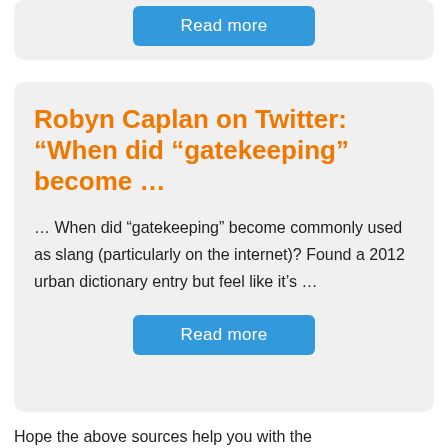[Figure (other): Read more button in blue rounded rectangle at top of card]
Robyn Caplan on Twitter: “When did “gatekeeping” become …
… When did “gatekeeping” become commonly used as slang (particularly on the internet)? Found a 2012 urban dictionary entry but feel like it’s …
[Figure (other): Read more button in blue rounded rectangle]
Hope the above sources help you with the